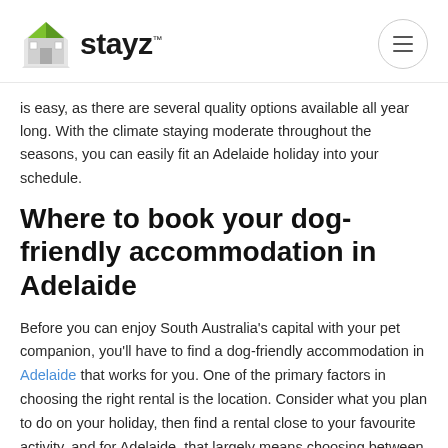stayz™
is easy, as there are several quality options available all year long. With the climate staying moderate throughout the seasons, you can easily fit an Adelaide holiday into your schedule.
Where to book your dog-friendly accommodation in Adelaide
Before you can enjoy South Australia's capital with your pet companion, you'll have to find a dog-friendly accommodation in Adelaide that works for you. One of the primary factors in choosing the right rental is the location. Consider what you plan to do on your holiday, then find a rental close to your favourite activity, and for Adelaide, that largely means choosing between the beach